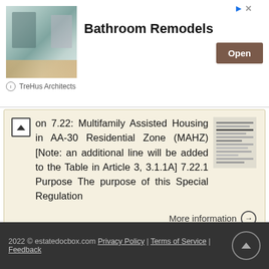[Figure (screenshot): Advertisement banner for 'Bathroom Remodels' by TreHus Architects, showing a kitchen/bathroom image on the left, bold title text 'Bathroom Remodels' in the center, an 'Open' button on the right, and ad attribution icons at top right and bottom left.]
on 7.22: Multifamily Assisted Housing in AA-30 Residential Zone (MAHZ) [Note: an additional line will be added to the Table in Article 3, 3.1.1A] 7.22.1 Purpose The purpose of this Special Regulation
More information →
2022 © estatedocbox.com Privacy Policy | Terms of Service | Feedback